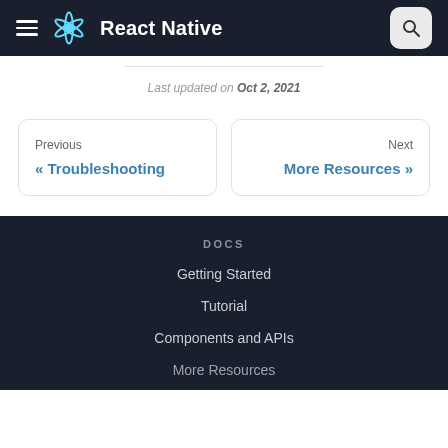React Native
Last updated on Oct 2, 2021
Previous « Troubleshooting
Next More Resources »
DOCS
Getting Started
Tutorial
Components and APIs
More Resources